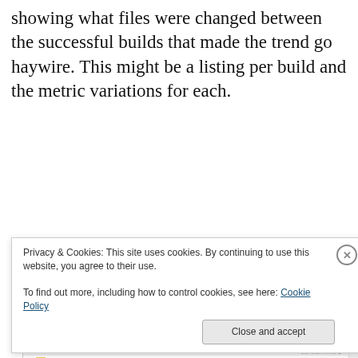showing what files were changed between the successful builds that made the trend go haywire. This might be a listing per build and the metric variations for each.
[Figure (screenshot): Screenshot of a SonarQube dashboard showing Measures drilldown for Duplicated lines (%). Value is 14.6%. Drilldown on 1,806 Duplicated lines lists packages: com.adobe.crypto (1,216), com.adobe.images (116), com.adobe.utils (108), com.adobe.protocols.dict (104), com.adobe.air.filesystem (68), com.adobe.serialization.json (36). Below shows file com.adobe.crypto.SHA1 with tabs Blame, Coverage, Duplications (active), Sources, Violations. Shows 100.0%, Lines: 289, Duplicated lines: 318, Duplicated blocks: 32. Table header row: Nb lines, From line, File, From line.]
Privacy & Cookies: This site uses cookies. By continuing to use this website, you agree to their use.
To find out more, including how to control cookies, see here: Cookie Policy
Close and accept